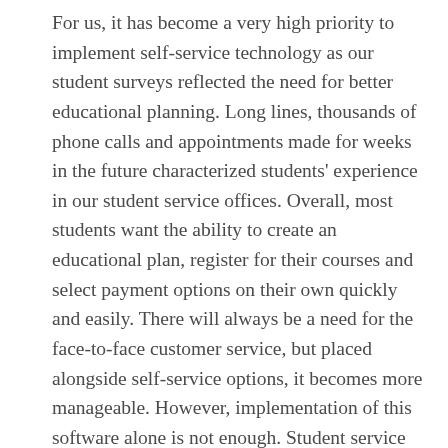For us, it has become a very high priority to implement self-service technology as our student surveys reflected the need for better educational planning. Long lines, thousands of phone calls and appointments made for weeks in the future characterized students' experience in our student service offices. Overall, most students want the ability to create an educational plan, register for their courses and select payment options on their own quickly and easily. There will always be a need for the face-to-face customer service, but placed alongside self-service options, it becomes more manageable. However, implementation of this software alone is not enough. Student service office staff and administration must discuss and create new procedures and communication strategies in